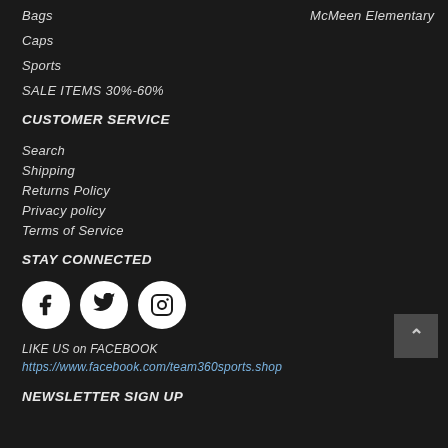Bags
McMeen Elementary
Caps
Sports
SALE ITEMS 30%-60%
CUSTOMER SERVICE
Search
Shipping
Returns Policy
Privacy policy
Terms of Service
STAY CONNECTED
[Figure (other): Social media icons: Facebook, Twitter, Instagram]
LIKE US on FACEBOOK https://www.facebook.com/team360sports.shop
NEWSLETTER SIGN UP